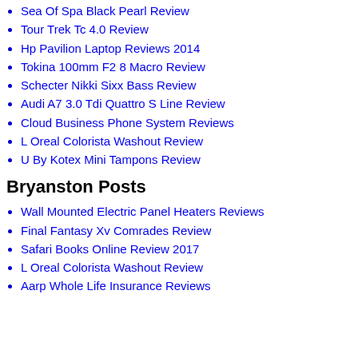Sea Of Spa Black Pearl Review
Tour Trek Tc 4.0 Review
Hp Pavilion Laptop Reviews 2014
Tokina 100mm F2 8 Macro Review
Schecter Nikki Sixx Bass Review
Audi A7 3.0 Tdi Quattro S Line Review
Cloud Business Phone System Reviews
L Oreal Colorista Washout Review
U By Kotex Mini Tampons Review
Bryanston Posts
Wall Mounted Electric Panel Heaters Reviews
Final Fantasy Xv Comrades Review
Safari Books Online Review 2017
L Oreal Colorista Washout Review
Aarp Whole Life Insurance Reviews